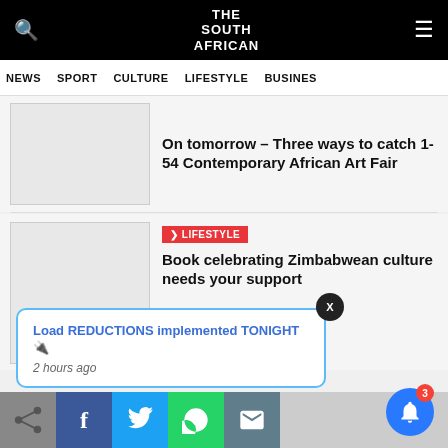THE SOUTH AFRICAN
NEWS  SPORT  CULTURE  LIFESTYLE  BUSINESS
On tomorrow – Three ways to catch 1-54 Contemporary African Art Fair
LIFESTYLE
Book celebrating Zimbabwean culture needs your support
Load REDUCTIONS implemented TONIGHT🔌
2 hours ago